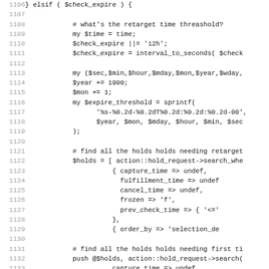[Figure (screenshot): Source code listing in monospace font showing Perl code lines 1106-1138, with line numbers on the left in gray and code on the right. The code handles hold retargeting logic including time thresholds, expire checks, and searching for holds needing retargeting.]